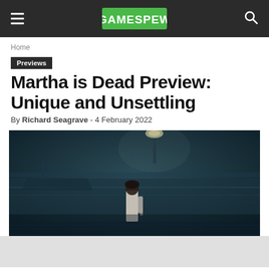GAMESPEW
Home
Previews
Martha is Dead Preview: Unique and Unsettling
By Richard Seagrave - 4 February 2022
[Figure (photo): Dark moody screenshot from Martha is Dead game showing a figure standing near water at night with dim lighting]